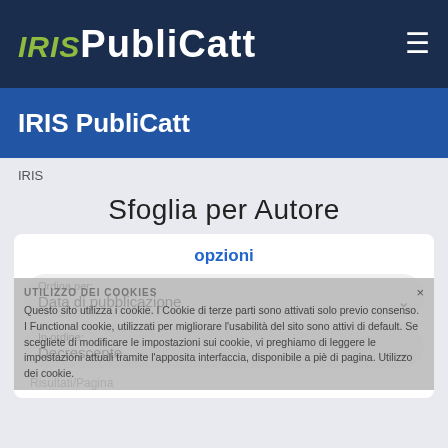IRIS PubliCatt
IRIS PubliCatt
IRIS
Sfoglia per Autore
opzioni
UTILIZZO DEI COOKIES
Questo sito utilizza i cookie. I Cookie di terze parti sono attivati solo previo consenso. I Functional cookie, utilizzati per migliorare l'usabilità del sito sono attivi di default. Se scegliete di modificare le impostazioni sui cookie, vi preghiamo di leggere le impostazioni attuali tramite l'apposita interfaccia, disponibile a piè di pagina. Utilizzo dei cookie.
Ordina per:
Data di pubblicazione
In ordine:
Decrescente
Risultati/Pagina